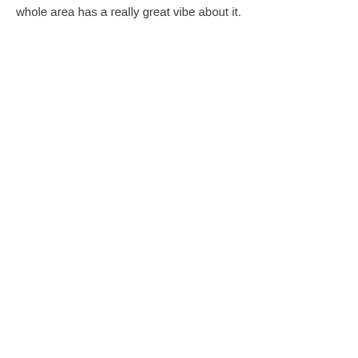whole area has a really great vibe about it.